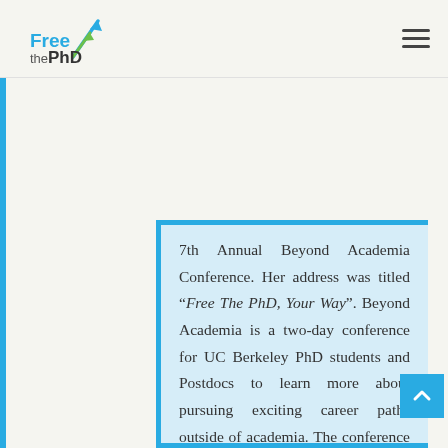Free the PhD
7th Annual Beyond Academia Conference. Her address was titled “Free The PhD, Your Way”. Beyond Academia is a two-day conference for UC Berkeley PhD students and Postdocs to learn more about pursuing exciting career paths outside of academia. The conference features keynotes speakers, panels for STEM and Humanities and Social Sciences, workshops, and a networking luncheon and reception each day.